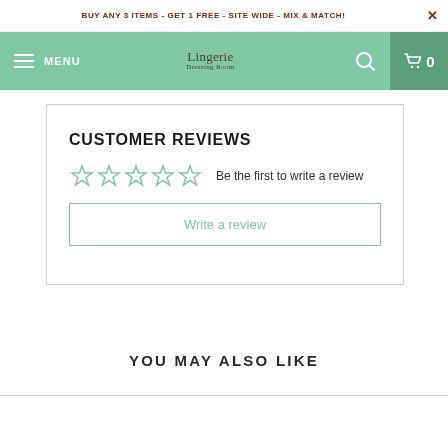BUY ANY 3 ITEMS - GET 1 FREE - SITE WIDE - MIX & MATCH!
[Figure (screenshot): E-commerce navigation bar with hamburger menu, logo, search icon, and cart icon showing 0 items, on a teal/green background.]
CUSTOMER REVIEWS
Be the first to write a review
Write a review
YOU MAY ALSO LIKE